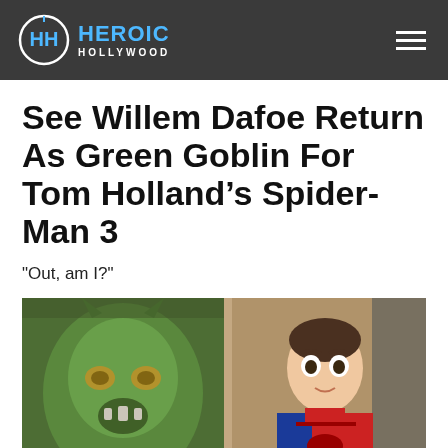HEROIC HOLLYWOOD
See Willem Dafoe Return As Green Goblin For Tom Holland’s Spider-Man 3
"Out, am I?"
[Figure (photo): Split image showing Green Goblin character (left, in green metallic armor with goblin mask) alongside Tom Holland as Spider-Man (right, in red and blue suit, looking surprised in a hallway)]